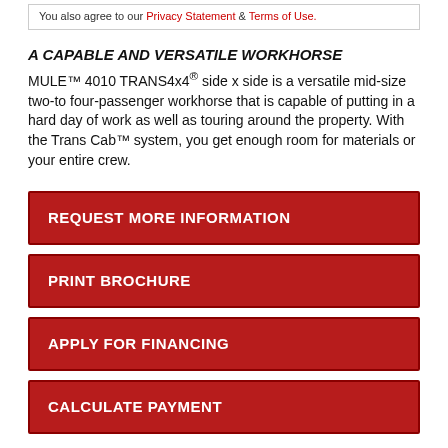You also agree to our Privacy Statement & Terms of Use.
A CAPABLE AND VERSATILE WORKHORSE
MULE™ 4010 TRANS4x4® side x side is a versatile mid-size two-to four-passenger workhorse that is capable of putting in a hard day of work as well as touring around the property. With the Trans Cab™ system, you get enough room for materials or your entire crew.
REQUEST MORE INFORMATION
PRINT BROCHURE
APPLY FOR FINANCING
CALCULATE PAYMENT